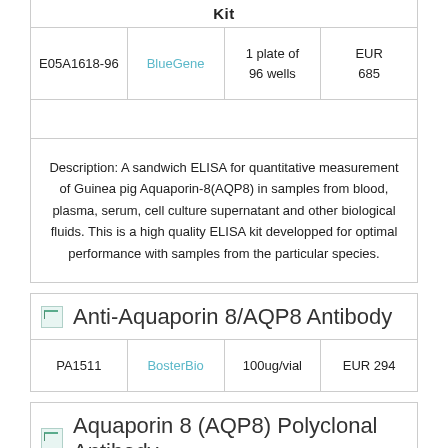|  | Kit |  |  |
| --- | --- | --- | --- |
| E05A1618-96 | BlueGene | 1 plate of 96 wells | EUR 685 |
|  |  |  |  |
Description: A sandwich ELISA for quantitative measurement of Guinea pig Aquaporin-8(AQP8) in samples from blood, plasma, serum, cell culture supernatant and other biological fluids. This is a high quality ELISA kit developped for optimal performance with samples from the particular species.
Anti-Aquaporin 8/AQP8 Antibody
| PA1511 | BosterBio | 100ug/vial | EUR 294 |
| --- | --- | --- | --- |
Aquaporin 8 (AQP8) Polyclonal Antibody